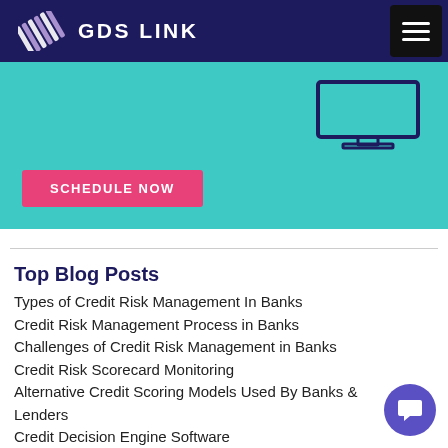GDS LINK
[Figure (screenshot): Teal banner section with a monitor graphic on the right and a pink 'SCHEDULE NOW' button on the lower left]
Top Blog Posts
Types of Credit Risk Management In Banks
Credit Risk Management Process in Banks
Challenges of Credit Risk Management in Banks
Credit Risk Scorecard Monitoring
Alternative Credit Scoring Models Used By Banks & Lenders
Credit Decision Engine Software
Credit Union Risk Management Software